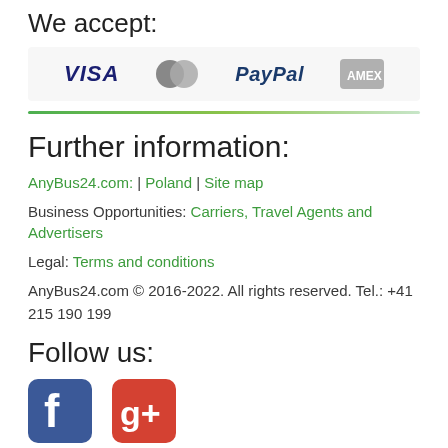We accept:
[Figure (other): Payment method logos: VISA, Mastercard, PayPal, American Express]
Further information:
AnyBus24.com: | Poland | Site map
Business Opportunities: Carriers, Travel Agents and Advertisers
Legal: Terms and conditions
AnyBus24.com © 2016-2022. All rights reserved. Tel.: +41 215 190 199
Follow us:
[Figure (other): Social media icons: Facebook, Google+, LinkedIn, Twitter]